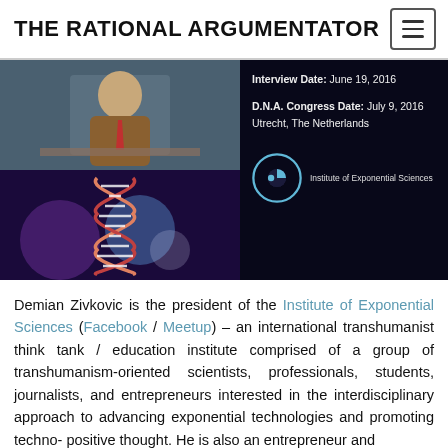THE RATIONAL ARGUMENTATOR
[Figure (photo): Two-panel image: top panel shows a man in a suit at a desk; bottom panel shows a DNA double helix with blue/purple abstract background]
Interview Date: June 19, 2016
D.N.A. Congress Date: July 9, 2016
Utrecht, The Netherlands
[Figure (logo): Institute of Exponential Sciences circular logo with text]
Demian Zivkovic is the president of the Institute of Exponential Sciences (Facebook / Meetup) – an international transhumanist think tank / education institute comprised of a group of transhumanism-oriented scientists, professionals, students, journalists, and entrepreneurs interested in the interdisciplinary approach to advancing exponential technologies and promoting techno-positive thought. He is also an entrepreneur and